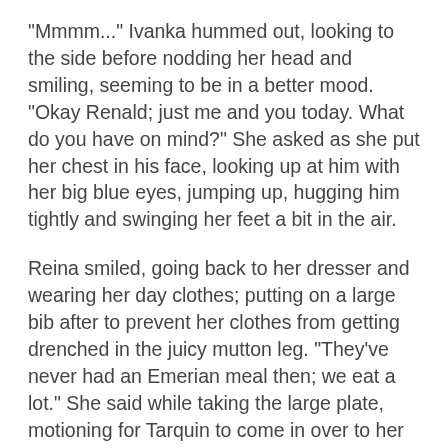"Mmmm..." Ivanka hummed out, looking to the side before nodding her head and smiling, seeming to be in a better mood. "Okay Renald; just me and you today. What do you have on mind?" She asked as she put her chest in his face, looking up at him with her big blue eyes, jumping up, hugging him tightly and swinging her feet a bit in the air.
Reina smiled, going back to her dresser and wearing her day clothes; putting on a large bib after to prevent her clothes from getting drenched in the juicy mutton leg. "They've never had an Emerian meal then; we eat a lot." She said while taking the large plate, motioning for Tarquin to come in over to her table. "With how proper the meals are supposed to be, some meals last six hours." She said before licking her lips, looking at the mutton leg. "But not me. I'm a half an hour kind of girl." She said before savagely biting the leg, growling out as she tore an entire chunk off of it, shearing through it with her teeth, chewing it before gulping it